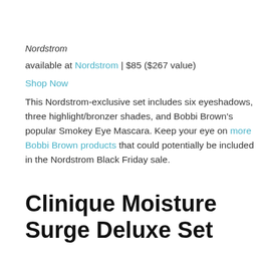Nordstrom
available at Nordstrom | $85 ($267 value)
Shop Now
This Nordstrom-exclusive set includes six eyeshadows, three highlight/bronzer shades, and Bobbi Brown's popular Smokey Eye Mascara. Keep your eye on more Bobbi Brown products that could potentially be included in the Nordstrom Black Friday sale.
Clinique Moisture Surge Deluxe Set